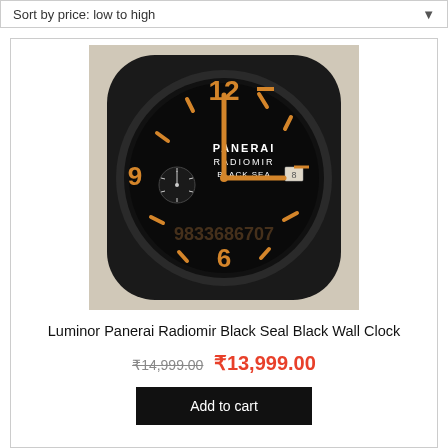Sort by price: low to high
[Figure (photo): A Luminor Panerai Radiomir Black Seal style wall clock with black square-rounded case, black dial, orange numerals and hands, and watermark 9833686707]
Luminor Panerai Radiomir Black Seal Black Wall Clock
₹14,999.00 ₹13,999.00
Add to cart